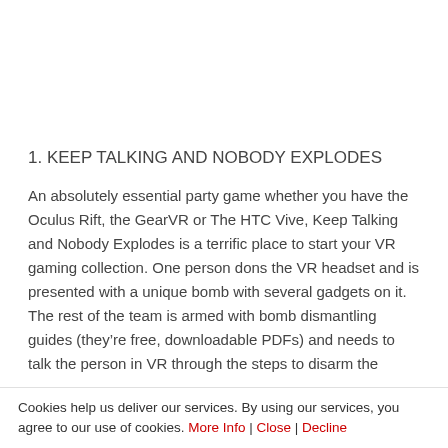1. KEEP TALKING AND NOBODY EXPLODES
An absolutely essential party game whether you have the Oculus Rift, the GearVR or The HTC Vive, Keep Talking and Nobody Explodes is a terrific place to start your VR gaming collection. One person dons the VR headset and is presented with a unique bomb with several gadgets on it. The rest of the team is armed with bomb dismantling guides (they're free, downloadable PDFs) and needs to talk the person in VR through the steps to disarm the
Cookies help us deliver our services. By using our services, you agree to our use of cookies. More Info | Close | Decline